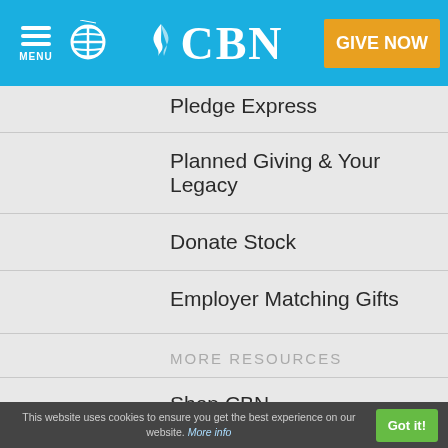CBN — GIVE NOW
Pledge Express
Planned Giving & Your Legacy
Donate Stock
Employer Matching Gifts
MORE RESOURCES
Shop CBN
Bible
myCBN
Apps
This website uses cookies to ensure you get the best experience on our website. More info